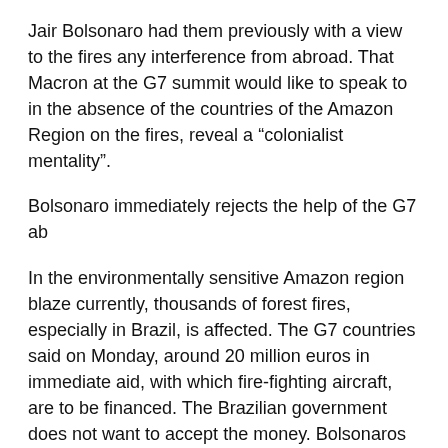Jair Bolsonaro had them previously with a view to the fires any interference from abroad. That Macron at the G7 summit would like to speak to in the absence of the countries of the Amazon Region on the fires, reveal a “colonialist mentality”.
Bolsonaro immediately rejects the help of the G7 ab
In the environmentally sensitive Amazon region blaze currently, thousands of forest fires, especially in Brazil, is affected. The G7 countries said on Monday, around 20 million euros in immediate aid, with which fire-fighting aircraft, are to be financed. The Brazilian government does not want to accept the money. Bolsonaros chef de Cabinet Onyx Lorenzoni said the news portal “G1”, which should be used for 20 million dollars instead of the forests in Europe to reforest. The President’s office confirmed to the AFP news